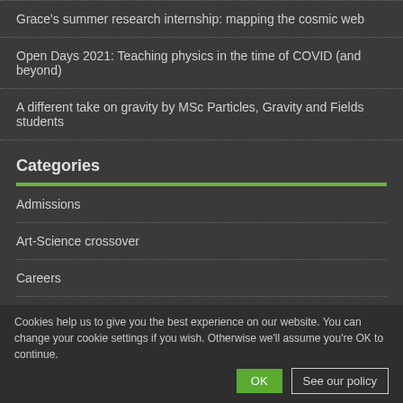Grace's summer research internship: mapping the cosmic web
Open Days 2021: Teaching physics in the time of COVID (and beyond)
A different take on gravity by MSc Particles, Gravity and Fields students
Categories
Admissions
Art-Science crossover
Careers
Computerphile
News
PhysSoc
Postgraduates
Public Engagement
Research
Schools
Cookies help us to give you the best experience on our website. You can change your cookie settings if you wish. Otherwise we'll assume you're OK to continue.